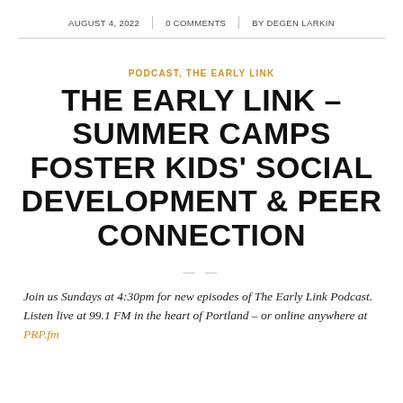AUGUST 4, 2022 | 0 COMMENTS | BY DEGEN LARKIN
PODCAST, THE EARLY LINK
THE EARLY LINK – SUMMER CAMPS FOSTER KIDS' SOCIAL DEVELOPMENT & PEER CONNECTION
Join us Sundays at 4:30pm for new episodes of The Early Link Podcast. Listen live at 99.1 FM in the heart of Portland – or online anywhere at PRP.fm